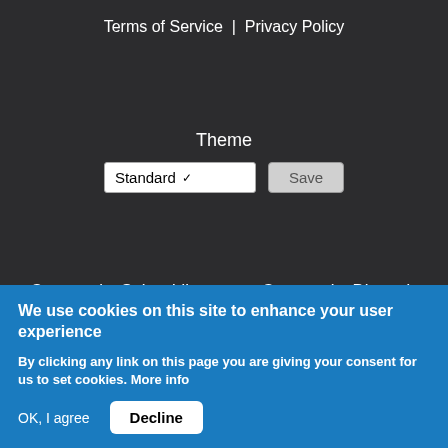Terms of Service  |  Privacy Policy
Theme
[Figure (screenshot): Theme selector dropdown showing 'Standard' with a chevron, and a 'Save' button]
Community Subreddit
Community Discord
Official VC Facebook Page
Official Ateam Discord
We use cookies on this site to enhance your user experience
By clicking any link on this page you are giving your consent for us to set cookies. More info
OK, I agree
Decline